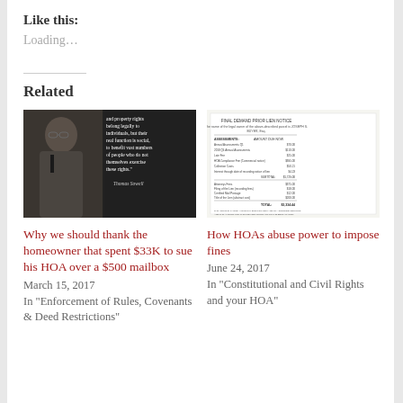Like this:
Loading...
Related
[Figure (photo): Black and white photo of Thomas Sowell with quote text overlay: 'and property rights belong legally to individuals, but their real function is social, to benefit vast numbers of people who do not themselves exercise these rights.' — Thomas Sowell]
Why we should thank the homeowner that spent $33K to sue his HOA over a $500 mailbox
March 15, 2017
In "Enforcement of Rules, Covenants & Deed Restrictions"
[Figure (screenshot): Screenshot of an HOA fine document/invoice showing itemized charges and totals]
How HOAs abuse power to impose fines
June 24, 2017
In "Constitutional and Civil Rights and your HOA"